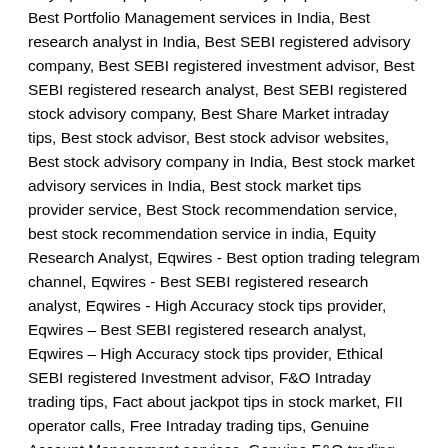nifty options tips provider, Best nifty tips provider in India, Best Portfolio Management services in India, Best research analyst in India, Best SEBI registered advisory company, Best SEBI registered investment advisor, Best SEBI registered research analyst, Best SEBI registered stock advisory company, Best Share Market intraday tips, Best stock advisor, Best stock advisor websites, Best stock advisory company in India, Best stock market advisory services in India, Best stock market tips provider service, Best Stock recommendation service, best stock recommendation service in india, Equity Research Analyst, Eqwires - Best option trading telegram channel, Eqwires - Best SEBI registered research analyst, Eqwires - High Accuracy stock tips provider, Eqwires – Best SEBI registered research analyst, Eqwires – High Accuracy stock tips provider, Ethical SEBI registered Investment advisor, F&O Intraday trading tips, Fact about jackpot tips in stock market, FII operator calls, Free Intraday trading tips, Genuine Account Management services, Genuine F&O trading call, Genuine F&O trading calls, Genuine SEBI registered advisory company, Google's highest ranking